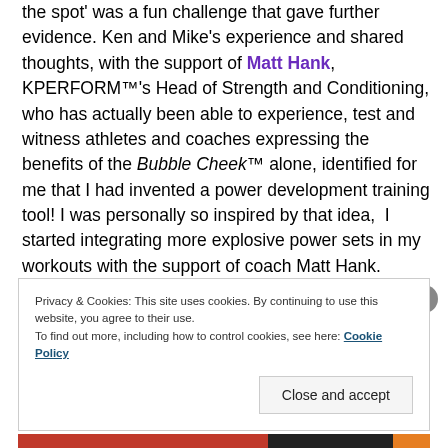the spot' was a fun challenge that gave further evidence. Ken and Mike's experience and shared thoughts, with the support of Matt Hank, KPERFORM™'s Head of Strength and Conditioning, who has actually been able to experience, test and witness athletes and coaches expressing the benefits of the Bubble Cheek™ alone, identified for me that I had invented a power development training tool! I was personally so inspired by that idea,  I started integrating more explosive power sets in my workouts with the support of coach Matt Hank.
Privacy & Cookies: This site uses cookies. By continuing to use this website, you agree to their use.
To find out more, including how to control cookies, see here: Cookie Policy
Close and accept